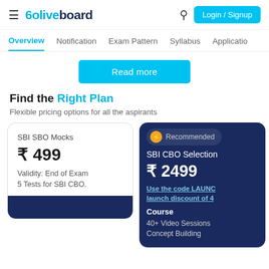Oliveboard — Login / Signup navigation header
Overview | Notification | Exam Pattern | Syllabus | Applicatio
Read more
Find the Right Plan
Flexible pricing options for all the aspirants
| Plan | Price | Validity | Tests |
| --- | --- | --- | --- |
| SBI SBO Mocks | ₹ 499 | End of Exam | 5 Tests for SBI CBO. |
| SBI CBO Selection | ₹ 2499 | Use the code LAUNC launch discount of 4 | 40+ Video Sessions Concept Building |